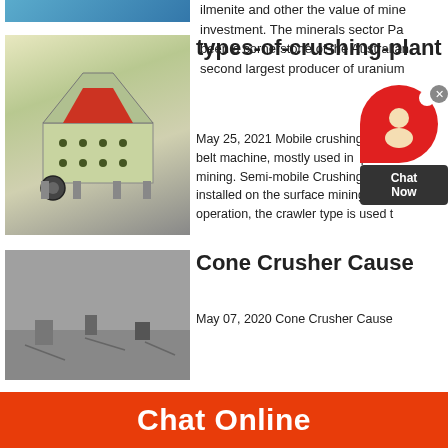[Figure (photo): Partial image of industrial/mining machine at top left]
ilmenite and other the value of mine investment. The minerals sector Pa been a cornerstone of the Australian second largest producer of uranium
[Figure (photo): Industrial crushing plant machine in a factory/warehouse setting]
types-of-crushing-plant
May 25, 2021 Mobile crushing belt machine, mostly used in mining. Semi-mobile Crushing Plant installed on the surface mining platf operation, the crawler type is used t
[Figure (photo): Aerial or ground view of a mining site/cone crusher operation]
Cone Crusher Cause
May 07, 2020 Cone Crusher Cause
[Figure (other): Chat support widget overlay with red bubble and Chat Now text]
Chat Online